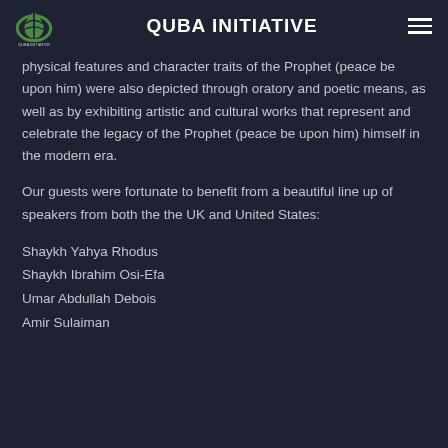QUBA INITIATIVE
physical features and character traits of the Prophet (peace be upon him) were also depicted through oratory and poetic means, as well as by exhibiting artistic and cultural works that represent and celebrate the legacy of the Prophet (peace be upon him) himself in the modern era.
Our guests were fortunate to benefit from a beautiful line up of speakers from both the the UK and United States:
Shaykh Yahya Rhodus
Shaykh Ibrahim Osi-Efa
Umar Abdullah Debois
Amir Sulaiman